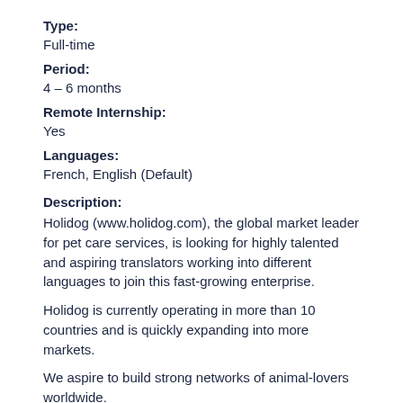Type: Full-time
Period: 4 – 6 months
Remote Internship: Yes
Languages: French, English (Default)
Description:
Holidog (www.holidog.com), the global market leader for pet care services, is looking for highly talented and aspiring translators working into different languages to join this fast-growing enterprise.
Holidog is currently operating in more than 10 countries and is quickly expanding into more markets.
We aspire to build strong networks of animal-lovers worldwide.